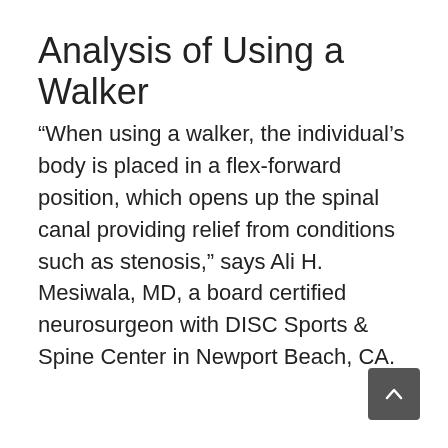Analysis of Using a Walker
“When using a walker, the individual’s body is placed in a flex-forward position, which opens up the spinal canal providing relief from conditions such as stenosis,” says Ali H. Mesiwala, MD, a board certified neurosurgeon with DISC Sports & Spine Center in Newport Beach, CA.